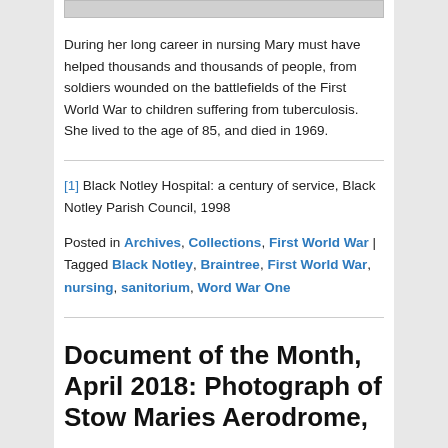[Figure (photo): Top portion of a photograph, partially visible at the top of the page]
During her long career in nursing Mary must have helped thousands and thousands of people, from soldiers wounded on the battlefields of the First World War to children suffering from tuberculosis. She lived to the age of 85, and died in 1969.
[1] Black Notley Hospital: a century of service, Black Notley Parish Council, 1998
Posted in Archives, Collections, First World War | Tagged Black Notley, Braintree, First World War, nursing, sanitorium, Word War One
Document of the Month, April 2018: Photograph of Stow Maries Aerodrome,